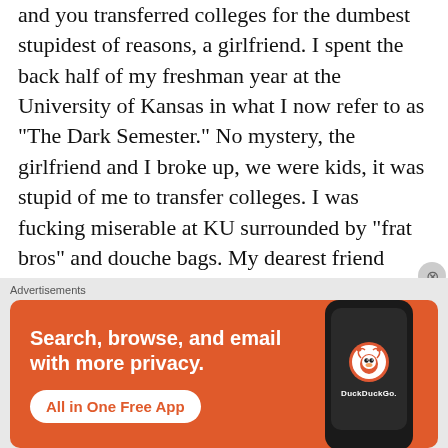and you transferred colleges for the dumbest stupidest of reasons, a girlfriend. I spent the back half of my freshman year at the University of Kansas in what I now refer to as "The Dark Semester." No mystery, the girlfriend and I broke up, we were kids, it was stupid of me to transfer colleges. I was fucking miserable at KU surrounded by "frat bros" and douche bags. My dearest friend Doug and a whole lot of rum got me through those horrid months. The notable exception to my misery were the two black guys who lived across the hall from my dorm room. As my relationship with my girlfriend and my roommate
Advertisements
[Figure (infographic): DuckDuckGo advertisement banner with orange background. Left side shows bold white text: 'Search, browse, and email with more privacy.' with a white rounded button reading 'All in One Free App'. Right side shows a smartphone with the DuckDuckGo duck logo and 'DuckDuckGo.' branding.]